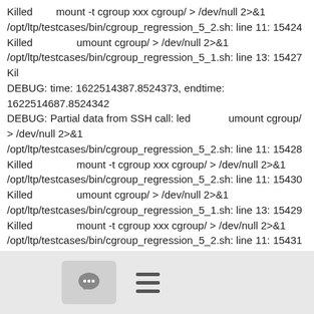Killed        mount -t cgroup xxx cgroup/ > /dev/null 2>&1
/opt/ltp/testcases/bin/cgroup_regression_5_2.sh: line 11: 15424 Killed                umount cgroup/ > /dev/null 2>&1
/opt/ltp/testcases/bin/cgroup_regression_5_1.sh: line 13: 15427 Kil
DEBUG: time: 1622514387.8524373, endtime: 1622514687.8524342
DEBUG: Partial data from SSH call: led             umount cgroup/ > /dev/null 2>&1
/opt/ltp/testcases/bin/cgroup_regression_5_2.sh: line 11: 15428 Killed                mount -t cgroup xxx cgroup/ > /dev/null 2>&1
/opt/ltp/testcases/bin/cgroup_regression_5_2.sh: line 11: 15430 Killed                umount cgroup/ > /dev/null 2>&1
/opt/ltp/testcases/bin/cgroup_regression_5_1.sh: line 13: 15429 Killed                mount -t cgroup xxx cgroup/ > /dev/null 2>&1
/opt/ltp/testcases/bin/cgroup_regression_5_2.sh: line 11: 15431 Killed                mount -t cgroup xxx cgroup/ > /dev/null 2>&1
/opt/ltp/testcases/bin/cgroup_regression_5_1.sh: line 13: 15434 Killed                umount cgroup/ > /dev/null 2>&1
[Figure (other): Footer bar with a comment/chat button (speech bubble icon on grey background) and a hamburger menu icon (three horizontal lines)]